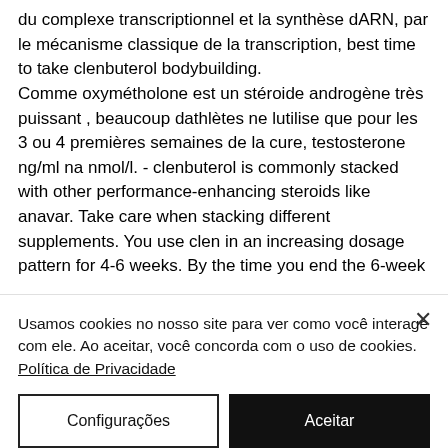du complexe transcriptionnel et la synthèse dARN, par le mécanisme classique de la transcription, best time to take clenbuterol bodybuilding. Comme oxymétholone est un stéroide androgène très puissant , beaucoup dathlètes ne lutilise que pour les 3 ou 4 premières semaines de la cure, testosterone ng/ml na nmol/l. - clenbuterol is commonly stacked with other performance-enhancing steroids like anavar. Take care when stacking different supplements. You use clen in an increasing dosage pattern for 4-6 weeks. By the time you end the 6-week
Usamos cookies no nosso site para ver como você interage com ele. Ao aceitar, você concorda com o uso de cookies. Política de Privacidade
Configurações
Aceitar